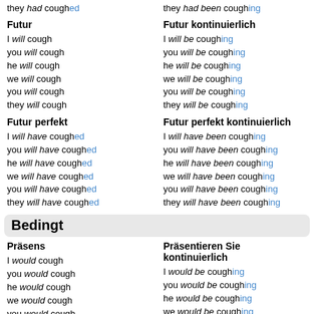they had coughed / they had been coughing
Futur
I will cough
you will cough
he will cough
we will cough
you will cough
they will cough
Futur kontinuierlich
I will be coughing
you will be coughing
he will be coughing
we will be coughing
you will be coughing
they will be coughing
Futur perfekt
I will have coughed
you will have coughed
he will have coughed
we will have coughed
you will have coughed
they will have coughed
Futur perfekt kontinuierlich
I will have been coughing
you will have been coughing
he will have been coughing
we will have been coughing
you will have been coughing
they will have been coughing
Bedingt
Präsens
Präsentieren Sie kontinuierlich
I would cough
you would cough
he would cough
we would cough
you would cough
they would cough
I would be coughing
you would be coughing
he would be coughing
we would be coughing
you would be coughing